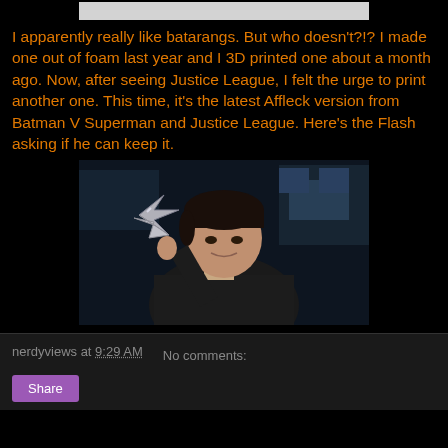[Figure (photo): Top portion of an image partially visible at the top of the page, appears to be a light gray/white image cropped]
I apparently really like batarangs. But who doesn't?!? I made one out of foam last year and I 3D printed one about a month ago. Now, after seeing Justice League, I felt the urge to print another one. This time, it's the latest Affleck version from Batman V Superman and Justice League. Here's the Flash asking if he can keep it.
[Figure (photo): A young man (the Flash / Ezra Miller) holding up a batarang and looking at it, in a dark scene]
nerdyviews at 9:29 AM   No comments: